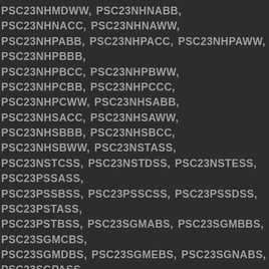PSC23NHMDWW, PSC23NHNABB, PSC23NHNACC, PSC23NHNAWW, PSC23NHPABB, PSC23NHPACC, PSC23NHPAWW, PSC23NHPBBB, PSC23NHPBCC, PSC23NHPBWW, PSC23NHPCBB, PSC23NHPCCC, PSC23NHPCWW, PSC23NHSABB, PSC23NHSACC, PSC23NHSAWW, PSC23NHSBBB, PSC23NHSBCC, PSC23NHSBWW, PSC23NSTASS, PSC23NSTCSS, PSC23NSTDSS, PSC23NSTESS, PSC23PSSASS, PSC23PSSBSS, PSC23PSSCSS, PSC23PSSDSS, PSC23PSTASS, PSC23PSTBSS, PSC23SGMABS, PSC23SGMBBS, PSC23SGMCBS, PSC23SGMDBS, PSC23SGMEBS, PSC23SGNABS, PSC23SGPASS, PSC23SGRASS, PSC23SGRBSS, PSC23SGRCSS, PSC23SGRDSS, PSC23SHMABS, PSC23SHMBBS, PSC23SHMCBS, PSC23SHMDBS, PSC23SHNABS, PSC23SHPASS, PSC23SHRASS, PSC23SHRBSS, PSC23SHRCSS, PSC23SHRDSS, PSC23SHTASS, PSC23SHTCSS, PSC23SHTESS, PSC23SHTGSS, PSC23SHTHSS, PSC23SHTISS, PSC23SSNASS, PSC25MGSAWW, PSC25MGSBBB, PSC25MGSBWW, PSC25MGTABB, PSC25MGTAWW, PSC25MGTBBB, PSC25MGTBWW, PSC25MSSASS, PSC25MSSBSS, PSC25MSTASS, PSC25MSTBSS,